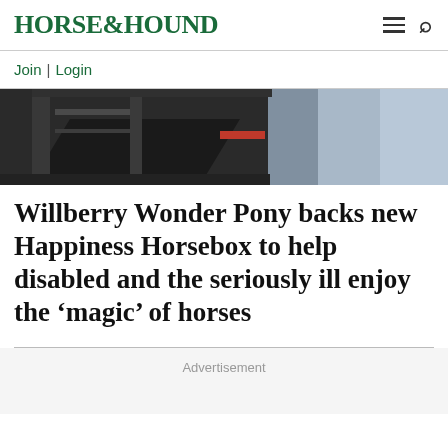HORSE&HOUND
Join | Login
[Figure (photo): Interior of a horsebox trailer showing ramp and partition, viewed from outside. Dark metal structure with a blue/light grey side panel visible on the right.]
Willberry Wonder Pony backs new Happiness Horsebox to help disabled and the seriously ill enjoy the ‘magic’ of horses
Advertisement